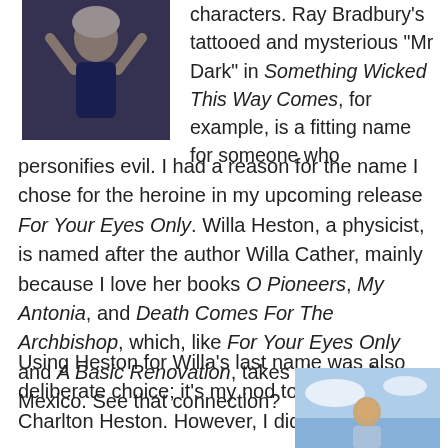[Figure (photo): Woman with light hair wearing dark blue clothing, arms raised, against a dark background]
characters. Ray Bradbury's tattooed and mysterious “Mr Dark” in Something Wicked This Way Comes, for example, is a fitting name for someone who personifies evil. I had a reason for the name I chose for the heroine in my upcoming release For Your Eyes Only. Willa Heston, a physicist, is named after the author Willa Cather, mainly because I love her books O Pioneers, My Antonia, and Death Comes For The Archbishop, which, like For Your Eyes Only and A Basic Renovation, takes place in New Mexico. See that connection?
Using Heston for Willa’s last name was also deliberate choice; it’s my nod to the actor Charlton Heston. However, I did not know this
[Figure (photo): Man in light blue shirt, looking upward, against a blue sky background]